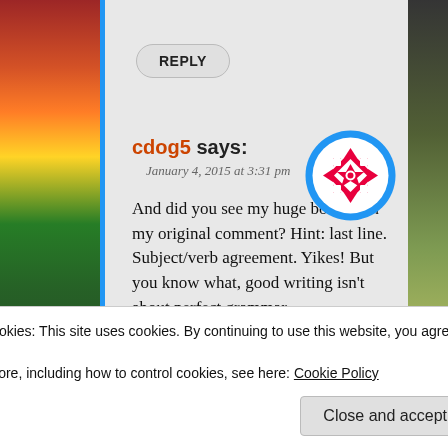REPLY
cdog5 says:
January 4, 2015 at 3:31 pm
[Figure (illustration): Circular avatar/logo with blue border ring and red/pink/white geometric quilt-like star pattern in the center on white background]
And did you see my huge booboo in my original comment? Hint: last line. Subject/verb agreement. Yikes! But you know what, good writing isn’t about perfect grammar,
Privacy & Cookies: This site uses cookies. By continuing to use this website, you agree to their use.
To find out more, including how to control cookies, see here: Cookie Policy
Close and accept